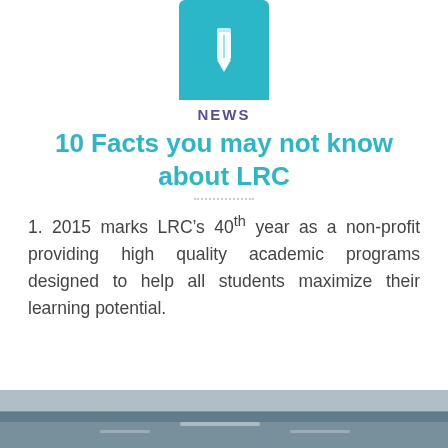[Figure (illustration): Teal/cyan rounded-top rectangle icon box containing a white pencil icon]
NEWS
10 Facts you may not know about LRC
1. 2015 marks LRC’s 40th year as a non-profit providing high quality academic programs designed to help all students maximize their learning potential.
[Figure (photo): Partial photo strip at bottom of page showing an outdoor scene]